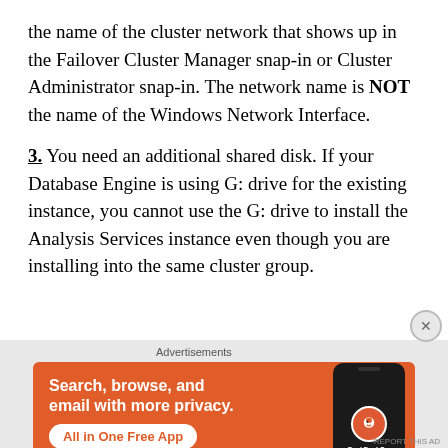the name of the cluster network that shows up in the Failover Cluster Manager snap-in or Cluster Administrator snap-in. The network name is NOT the name of the Windows Network Interface.
3. You need an additional shared disk. If your Database Engine is using G: drive for the existing instance, you cannot use the G: drive to install the Analysis Services instance even though you are installing into the same cluster group.
[Figure (other): DuckDuckGo advertisement banner with orange background. Text reads: Search, browse, and email with more privacy. All in One Free App. Shows a smartphone with DuckDuckGo logo.]